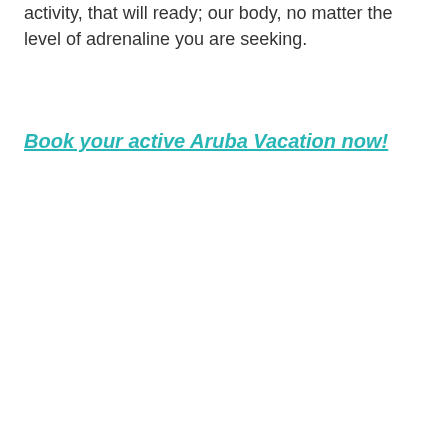activity, that will ready; our body, no matter the level of adrenaline you are seeking.
Book your active Aruba Vacation now!